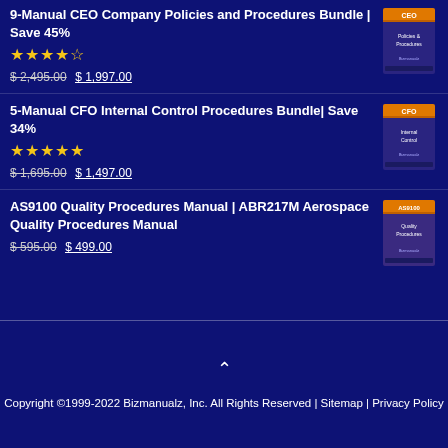9-Manual CEO Company Policies and Procedures Bundle | Save 45% — Rating: 3.5 stars — Original price: $ 2,495.00 — Sale price: $ 1,997.00
5-Manual CFO Internal Control Procedures Bundle| Save 34% — Rating: 4.5 stars — Original price: $ 1,695.00 — Sale price: $ 1,497.00
AS9100 Quality Procedures Manual | ABR217M Aerospace Quality Procedures Manual — Original price: $ 595.00 — Sale price: $ 499.00
Copyright ©1999-2022 Bizmanualz, Inc. All Rights Reserved | Sitemap | Privacy Policy